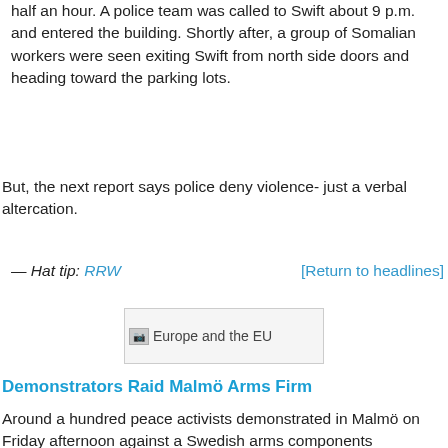half an hour. A police team was called to Swift about 9 p.m. and entered the building. Shortly after, a group of Somalian workers were seen exiting Swift from north side doors and heading toward the parking lots.
But, the next report says police deny violence- just a verbal altercation.
— Hat tip: RRW    [Return to headlines]
[Figure (illustration): Broken image placeholder for 'Europe and the EU']
Demonstrators Raid Malmö Arms Firm
Around a hundred peace activists demonstrated in Malmö on Friday afternoon against a Swedish arms components manufacturer's contracts with the US military, with some of the protesters eventually breaking into the office grounds.